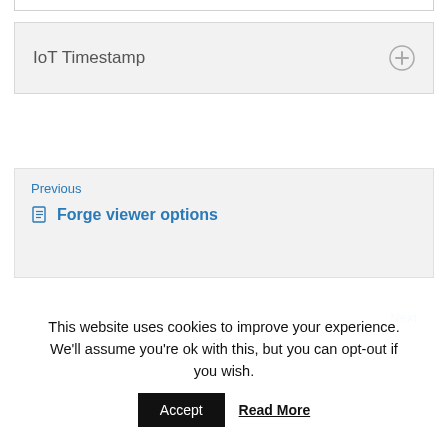[Figure (screenshot): Collapsed accordion item labeled 'IoT Timestamp' with a plus icon on the right, on a light gray background with a border]
Previous
Forge viewer options
Next
This website uses cookies to improve your experience. We'll assume you're ok with this, but you can opt-out if you wish.
Accept
Read More